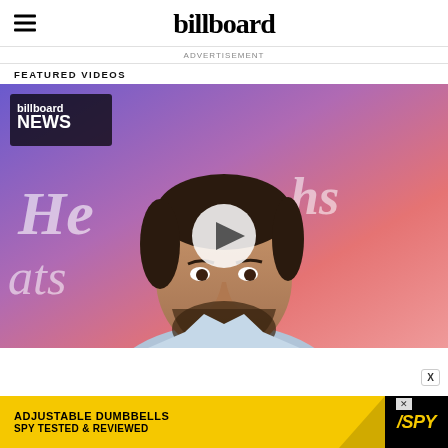billboard
ADVERTISEMENT
FEATURED VIDEOS
[Figure (screenshot): Video thumbnail showing a man with a beard in front of a colorful mural with cursive text. Billboard News logo in top-left. White play button triangle in center.]
[Figure (screenshot): Advertisement banner: ADJUSTABLE DUMBBELLS SPY TESTED & REVIEWED with SPY logo on yellow background. X close button in top right corner of popup.]